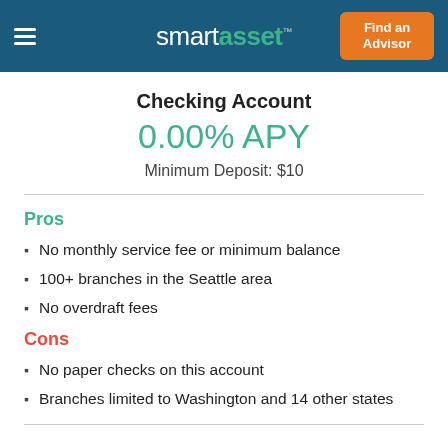smartasset™ — Find an Advisor
Checking Account
0.00% APY
Minimum Deposit: $10
Pros
No monthly service fee or minimum balance
100+ branches in the Seattle area
No overdraft fees
Cons
No paper checks on this account
Branches limited to Washington and 14 other states